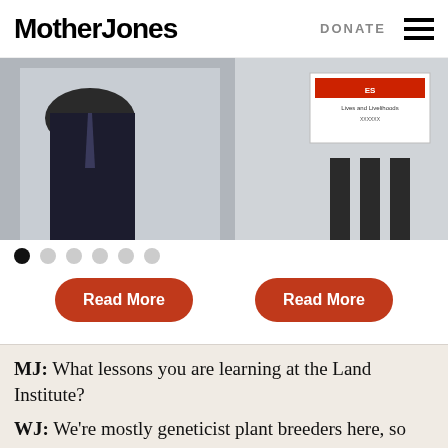Mother Jones  DONATE
[Figure (photo): Hero image showing a person in a dark suit on the left and protesters with signs on the right, partially cropped]
Carousel navigation dots (1 active, 5 inactive)
Read More  Read More
MJ: What lessons you are learning at the Land Institute?
WJ: We're mostly geneticist plant breeders here, so our work is mostly plant breeding but also some ecology, soil science, and so on. We're perennializing